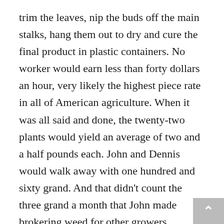trim the leaves, nip the buds off the main stalks, hang them out to dry and cure the final product in plastic containers. No worker would earn less than forty dollars an hour, very likely the highest piece rate in all of American agriculture. When it was all said and done, the twenty-two plants would yield an average of two and a half pounds each. John and Dennis would walk away with one hundred and sixty grand. And that didn't count the three grand a month that John made brokering weed for other growers.
“We do everything local. We buy our fertilizers and soil amendments down the street. All our supplies and tools, we buy at Friedman’s. I go out to dinner, buy clothes. All local. And because we’re producing something real that sells across the country, we’re bringing in real dollars from the outside. Walk downtown, look what’s popped